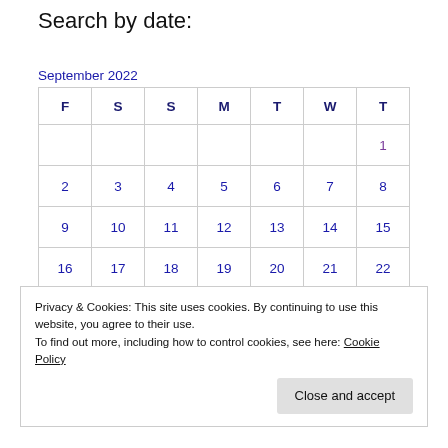Search by date:
| F | S | S | M | T | W | T |
| --- | --- | --- | --- | --- | --- | --- |
|  |  |  |  |  |  | 1 |
| 2 | 3 | 4 | 5 | 6 | 7 | 8 |
| 9 | 10 | 11 | 12 | 13 | 14 | 15 |
| 16 | 17 | 18 | 19 | 20 | 21 | 22 |
Privacy & Cookies: This site uses cookies. By continuing to use this website, you agree to their use.
To find out more, including how to control cookies, see here: Cookie Policy
Close and accept